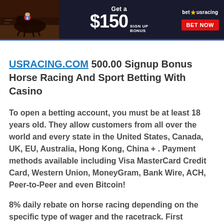[Figure (screenshot): Bet USRacing advertisement banner: horse racing photo on left, '$150 Sign Up Bonus' text in center, 'bet USracing BET NOW' button on right, dark blue background]
USRACING.COM 500.00 Signup Bonus Horse Racing And Sport Betting With Casino
To open a betting account, you must be at least 18 years old. They allow customers from all over the world and every state in the United States, Canada, UK, EU, Australia, Hong Kong, China + . Payment methods available including Visa MasterCard Credit Card, Western Union, MoneyGram, Bank Wire, ACH, Peer-to-Peer and even Bitcoin!
8% daily rebate on horse racing depending on the specific type of wager and the racetrack. First deposits at US Racing are eligible for various cash